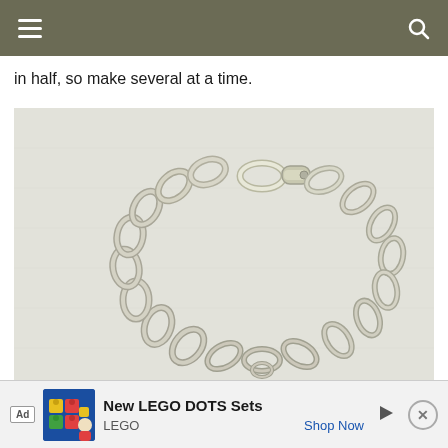Navigation bar with hamburger menu and search icon
in half, so make several at a time.
[Figure (photo): A silver chain bracelet with oval links and a lobster clasp, displayed on a light gray/white surface.]
Ad — New LEGO DOTS Sets — LEGO — Shop Now